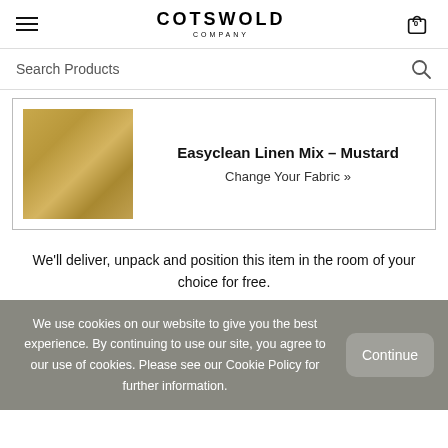COTSWOLD COMPANY
Search Products
Easyclean Linen Mix – Mustard
Change Your Fabric »
We'll deliver, unpack and position this item in the room of your choice for free.
We use cookies on our website to give you the best experience. By continuing to use our site, you agree to our use of cookies. Please see our Cookie Policy for further information.